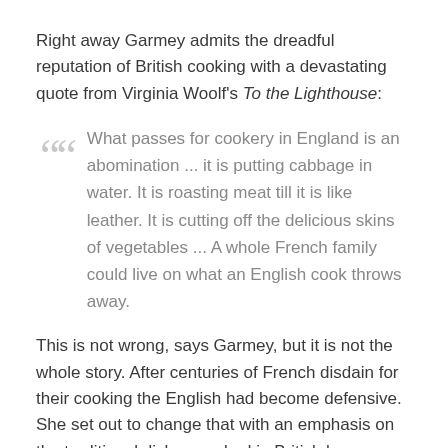Right away Garmey admits the dreadful reputation of British cooking with a devastating quote from Virginia Woolf's To the Lighthouse:
What passes for cookery in England is an abomination ... it is putting cabbage in water. It is roasting meat till it is like leather. It is cutting off the delicious skins of vegetables ... A whole French family could live on what an English cook throws away.
This is not wrong, says Garmey, but it is not the whole story. After centuries of French disdain for their cooking the English had become defensive. She set out to change that with an emphasis on the traditional dishes cooked in British homes.